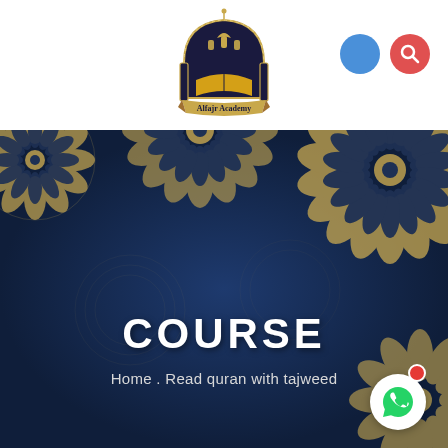[Figure (logo): Alfajr Academy logo — dark navy dome/arch shape with gold lanterns and an open book, with the text 'Alfajr Academy' on a banner below]
[Figure (illustration): Two circular nav icons on white header: a blue filled circle and a red circle with a white magnifying glass search icon]
[Figure (illustration): Dark navy hero banner with ornate gold mandala/arabesque decorative patterns in corners and center top. Contains centered white text 'COURSE' in bold capitals and subtitle 'Home . Read quran with tajweed'. Bottom right has a white circular WhatsApp button with green phone icon and a small red notification dot.]
COURSE
Home . Read quran with tajweed